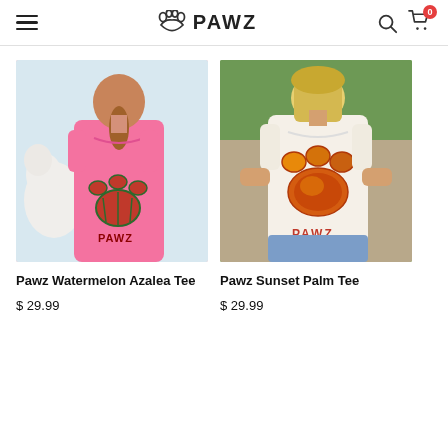PAWZ
[Figure (photo): Woman wearing a pink t-shirt with a watermelon / azalea paw print and PAWZ text on the back, standing with a white fluffy dog]
Pawz Watermelon Azalea Tee
$ 29.99
[Figure (photo): Woman wearing a white t-shirt with a sunset/orange paw print and PAWZ text on the back, outdoors with greenery background]
Pawz Sunset Palm Tee
$ 29.99